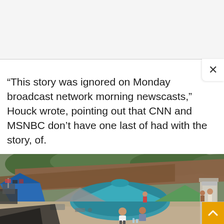“This story was ignored on Monday broadcast network morning newscasts,” Houck wrote, pointing out that CNN and MSNBC don’t have one last of had with the story, of.
[Figure (photo): Outdoor refugee or migrant camp with multiple tents of various colors including blue and teal, tarps overhead, people visible including a child in white shirt sitting in foreground, dense living conditions with belongings scattered around.]